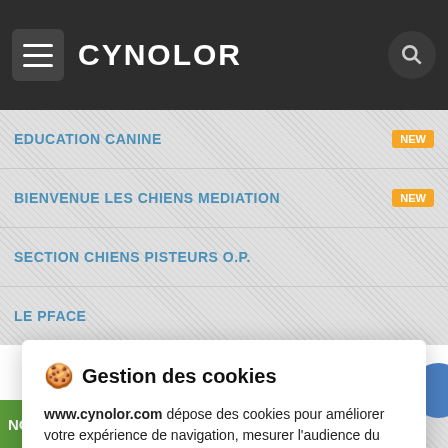CYNOLOR
EDUCATION CANINE
BIENVENUE LES CHIENS MEDIATION
SECTION CHIENS PISTEURS O.P.
LE PFACE
🍪 Gestion des cookies
www.cynolor.com dépose des cookies pour améliorer votre expérience de navigation, mesurer l'audience du site internet, afficher des publicités personnalisées, réaliser des campagnes ciblées et personnaliser l'interface du site.
Consulter la politique de confidentialité
REFUSER   PARAMÉTRER   ACCEPTER
FORMATION RISQUES ANIMALIER